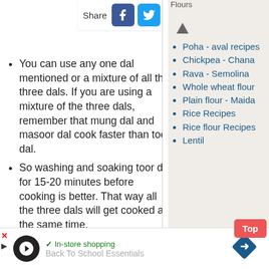dal/ara
[Figure (infographic): Share bar with Facebook, Twitter, Pinterest, and Messenger icons]
You can use any one dal mentioned or a mixture of all the three dals. If you are using a mixture of the three dals, remember that mung dal and masoor dal cook faster than toor dal.
So washing and soaking toor dal for 15-20 minutes before cooking is better. That way all the three dals will get cooked at the same time.
Fresh lemon juice may be added instead of tamarind
Flours
Poha - aval recipes
Chickpea - Chana
Rava - Semolina
Whole wheat flour
Plain flour - Maida
Rice Recipes
Rice flour Recipes
Lentil
[Figure (infographic): Advertisement bar with in-store shopping text, Back To School Essentials, circular icon and diamond navigation icon]